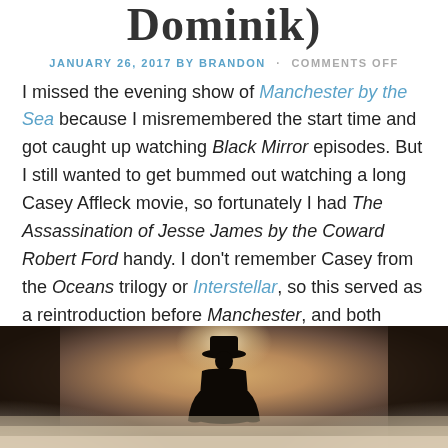Dominik)
JANUARY 26, 2017 BY BRANDON · COMMENTS OFF
I missed the evening show of Manchester by the Sea because I misremembered the start time and got caught up watching Black Mirror episodes. But I still wanted to get bummed out watching a long Casey Affleck movie, so fortunately I had The Assassination of Jesse James by the Coward Robert Ford handy. I don't remember Casey from the Oceans trilogy or Interstellar, so this served as a reintroduction before Manchester, and both turned out to be stunner movies with great lead performances. If anyone is working on a Timothy Carey biopic, I nominate Casey as lead.
[Figure (photo): Silhouette of a person wearing a hat standing in misty/foggy atmosphere with warm backlight, cinematic still from a movie]